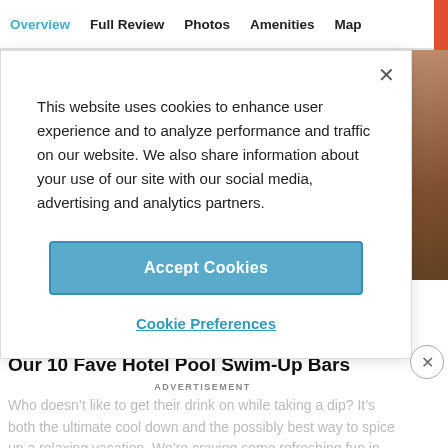Overview  Full Review  Photos  Amenities  Map
This website uses cookies to enhance user experience and to analyze performance and traffic on our website. We also share information about your use of our site with our social media, advertising and analytics partners.
Accept Cookies
Cookie Preferences
Our 10 Fave Hotel Pool Swim-Up Bars
ADVERTISEMENT
Who doesn't like to get their drink on while taking a dip? It's both the ultimate cool down and the possibly best way to spice up a relaxing vacation. We're craving some refreshing fun in the sun, so we've picked our favorite